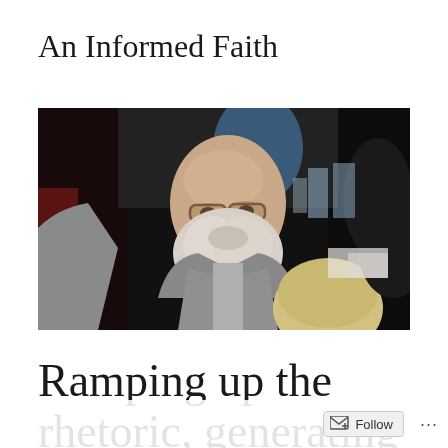An Informed Faith
[Figure (photo): An elderly man with a white beard and glasses sitting at a table in what appears to be a conference or meeting setting, with other people around him]
Ramping up the rhetoric, generating guilt and provoking...